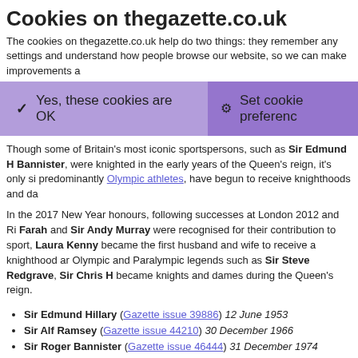Cookies on thegazette.co.uk
The cookies on thegazette.co.uk help do two things: they remember any settings and understand how people browse our website, so we can make improvements a
✓  Yes, these cookies are OK   ⚙ Set cookie preferences
Though some of Britain's most iconic sportspersons, such as Sir Edmund Hillary and Sir Roger Bannister, were knighted in the early years of the Queen's reign, it's only since the 1990s that athletes, predominantly Olympic athletes, have begun to receive knighthoods and damehoods in large numbers.
In the 2017 New Year honours, following successes at London 2012 and Rio 2016, Sir Mo Farah and Sir Andy Murray were recognised for their contribution to sport, and Sir Jason and Laura Kenny became the first husband and wife to receive a knighthood and damehood simultaneously. Other Olympic and Paralympic legends such as Sir Steve Redgrave, Sir Chris Hoy and Dame Jessica Ennis-Hill became knights and dames during the Queen's reign.
Sir Edmund Hillary (Gazette issue 39886) 12 June 1953
Sir Alf Ramsey (Gazette issue 44210) 30 December 1966
Sir Roger Bannister (Gazette issue 46444) 31 December 1974
Sir Alex Ferguson (Gazette issue 55513) 12 June 1999
Dame Mary Peters (Gazette issue 55879) 19 June 2000
Sir Steve Redgrave (Gazette issue 56070) 30 December 2000
Dame Tanni Grey-Thompson (Gazette issue 57509) 31 December 20
Dame Kelly Holmes (Gazette issue 57509) 31 December 2004
Sir Chris Hoy (Gazette issue 58929) 31 December 2008
Dame Jessica Ennis-Hill (Gazette issue 61803) 31 December 2016